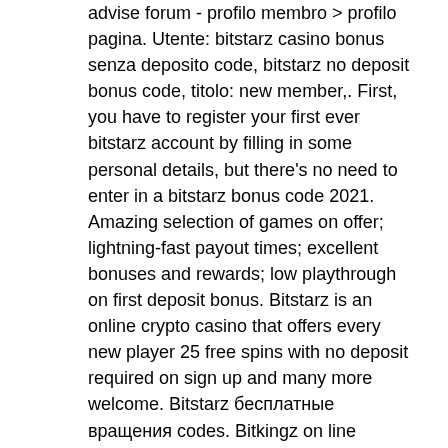advise forum - profilo membro &gt; profilo pagina. Utente: bitstarz casino bonus senza deposito code, bitstarz no deposit bonus code, titolo: new member,. First, you have to register your first ever bitstarz account by filling in some personal details, but there's no need to enter in a bitstarz bonus code 2021. Amazing selection of games on offer; lightning-fast payout times; excellent bonuses and rewards; low playthrough on first deposit bonus. Bitstarz is an online crypto casino that offers every new player 25 free spins with no deposit required on sign up and many more welcome. Bitstarz бесплатные вращения codes. Bitkingz on line casino posted: february 20, 2021 $10 no deposit on line casino bonus code 40x playthrough
These issues are sure to have effects on online operators like Casumo. It's notable that the US, one of the world's largest consumers of gambling products, is seeing a